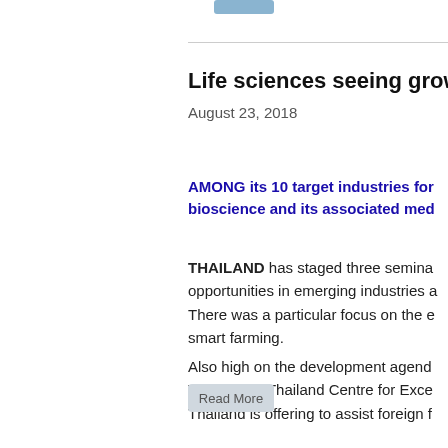Life sciences seeing growth
August 23, 2018
AMONG its 10 target industries for bioscience and its associated med...
THAILAND has staged three seminars on opportunities in emerging industries a... There was a particular focus on the e... smart farming. Also high on the development agend... Through its Thailand Centre for Exce... Thailand is offering to assist foreign f...
Read More